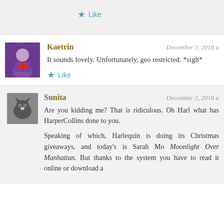Like
Kaetrin
December 3, 2018
It sounds lovely. Unfortunately, geo restricted. *sigh*
Like
Sunita
December 3, 2018
Are you kidding me? That is ridiculous. Oh Harl what has HarperCollins done to you.
Speaking of which, Harlequin is doing its Christmas giveaways, and today's is Sarah Mo Moonlight Over Manhattan. But thanks to the system you have to read it online or download a